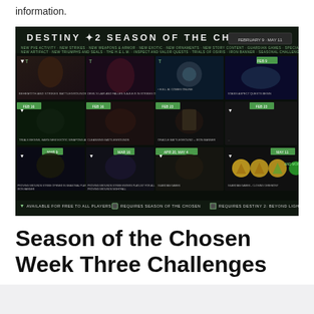information.
[Figure (screenshot): Destiny 2 Season of the Chosen promotional roadmap image showing content release schedule from February 9 to May 11, with grid panels depicting activities, strikes, weapons, armor, exotic items, ornaments, story content, Guardian Games, artifact, triumphs and seals, the HELM, Iron Banner, seasonal challenges, and more.]
Season of the Chosen Week Three Challenges